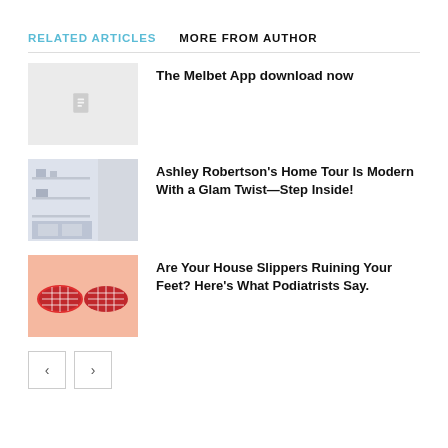RELATED ARTICLES   MORE FROM AUTHOR
[Figure (photo): Placeholder thumbnail image with document icon for Melbet App article]
The Melbet App download now
[Figure (photo): Woman standing in stylish home interior with white furniture and decor]
Ashley Robertson’s Home Tour Is Modern With a Glam Twist—Step Inside!
[Figure (photo): Red plaid house slippers on a peach/pink background]
Are Your House Slippers Ruining Your Feet? Here’s What Podiatrists Say.